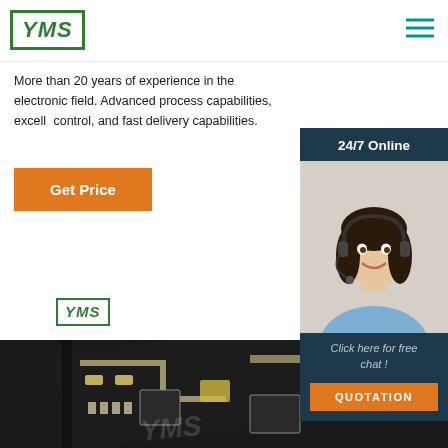[Figure (logo): YMS company logo — green bordered rectangle with italic bold YMS text]
[Figure (illustration): Hamburger menu icon — three teal horizontal lines]
More than 20 years of experience in the electronic field. Advanced process capabilities, excell... control, and fast delivery capabilities.
[Figure (infographic): Orange Get Price button]
[Figure (photo): 24/7 Online chat widget with photo of woman wearing headset, Click here for free chat! text, and orange QUOTATION button on dark navy background]
[Figure (logo): Small YMS logo in green bordered box]
[Figure (photo): Close-up photo of a dark PCB circuit board with YMS watermark]